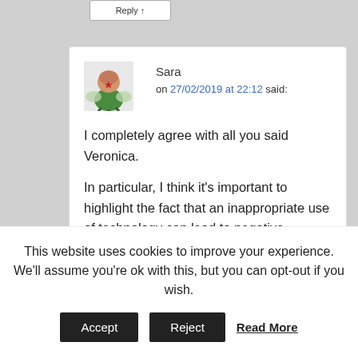Sara on 27/02/2019 at 22:12 said:
I completely agree with all you said Veronica.
In particular, I think it's important to highlight the fact that an inappropriate use of technology can lead to negative consequences. As an example, people who work with social media should be really careful and above all aware of the risks connected to them: jobs like blogger or influencer, that are really popular
This website uses cookies to improve your experience. We'll assume you're ok with this, but you can opt-out if you wish.